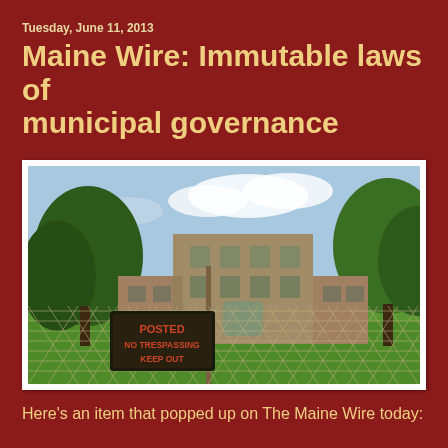Tuesday, June 11, 2013
Maine Wire: Immutable laws of municipal governance
[Figure (photo): Photograph of an abandoned brick school building viewed through a chain-link fence, with a 'POSTED NO TRESPASSING KEEP OUT' sign attached to the fence, surrounded by green trees and lawn.]
Here's an item that popped up on The Maine Wire today: